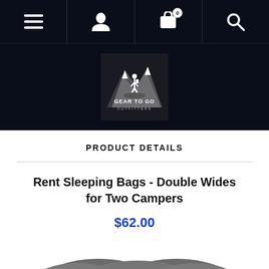Navigation bar with menu, user, cart (0), and search icons
[Figure (logo): Gear To Go Outfitters logo — hiker on mountain peak, black and white illustration with text GEAR TO GO OUTFITTERS]
PRODUCT DETAILS
Rent Sleeping Bags - Double Wides for Two Campers
$62.00
[Figure (photo): Photo of a gray double-wide sleeping bag with red accent stripe, showing the top/hood portion]